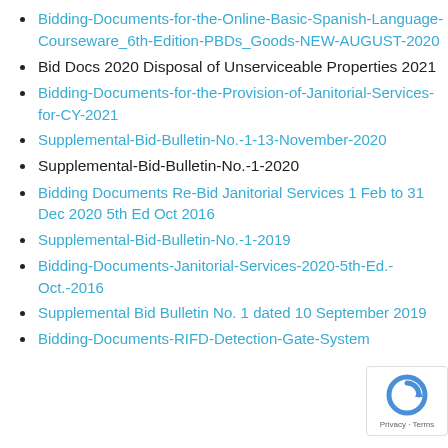Bidding-Documents-for-the-Online-Basic-Spanish-Language-Courseware_6th-Edition-PBDs_Goods-NEW-AUGUST-2020
Bid Docs 2020 Disposal of Unserviceable Properties 2021
Bidding-Documents-for-the-Provision-of-Janitorial-Services-for-CY-2021
Supplemental-Bid-Bulletin-No.-1-13-November-2020
Supplemental-Bid-Bulletin-No.-1-2020
Bidding Documents Re-Bid Janitorial Services 1 Feb to 31 Dec 2020 5th Ed Oct 2016
Supplemental-Bid-Bulletin-No.-1-2019
Bidding-Documents-Janitorial-Services-2020-5th-Ed.-Oct.-2016
Supplemental Bid Bulletin No. 1 dated 10 September 2019
Bidding-Documents-RIFD-Detection-Gate-System